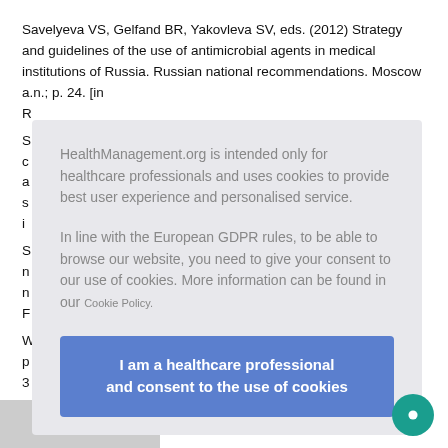Savelyeva VS, Gelfand BR, Yakovleva SV, eds. (2012) Strategy and guidelines of the use of antimicrobial agents in medical institutions of Russia. Russian national recommendations. Moscow a.n.; p. 24. [in R...
S... c... a na s... i...
S... n... n F...
W... of the p... AMA, 3...
HealthManagement.org is intended only for healthcare professionals and uses cookies to provide best user experience and personalised service.

In line with the European GDPR rules, to be able to browse our website, you need to give your consent to our use of cookies. More information can be found in our Cookie Policy.

I am a healthcare professional and consent to the use of cookies